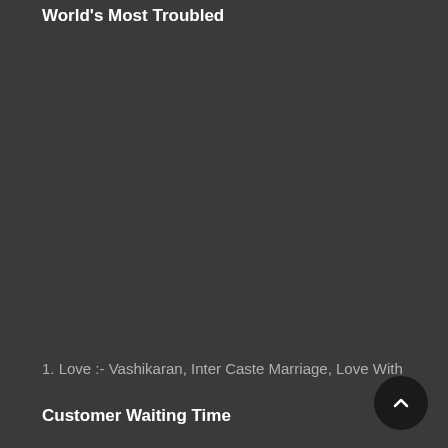World's Most Troubled
1. Love :- Vashikaran, Inter Caste Marriage, Love With
Customer Waiting Time